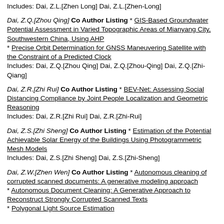Includes: Dai, Z.L.[Zhen Long] Dai, Z.L.[Zhen-Long]
Dai, Z.Q.[Zhou Qing] Co Author Listing * GIS-Based Groundwater Potential Assessment in Varied Topographic Areas of Mianyang City, Southwestern China, Using AHP * Precise Orbit Determination for GNSS Maneuvering Satellite with the Constraint of a Predicted Clock Includes: Dai, Z.Q.[Zhou Qing] Dai, Z.Q.[Zhou-Qing] Dai, Z.Q.[Zhi-Qiang]
Dai, Z.R.[Zhi Rui] Co Author Listing * BEV-Net: Assessing Social Distancing Compliance by Joint People Localization and Geometric Reasoning Includes: Dai, Z.R.[Zhi Rui] Dai, Z.R.[Zhi-Rui]
Dai, Z.S.[Zhi Sheng] Co Author Listing * Estimation of the Potential Achievable Solar Energy of the Buildings Using Photogrammetric Mesh Models Includes: Dai, Z.S.[Zhi Sheng] Dai, Z.S.[Zhi-Sheng]
Dai, Z.W.[Zhen Wen] Co Author Listing * Autonomous cleaning of corrupted scanned documents: A generative modeling approach * Autonomous Document Cleaning: A Generative Approach to Reconstruct Strongly Corrupted Scanned Texts * Polygonal Light Source Estimation